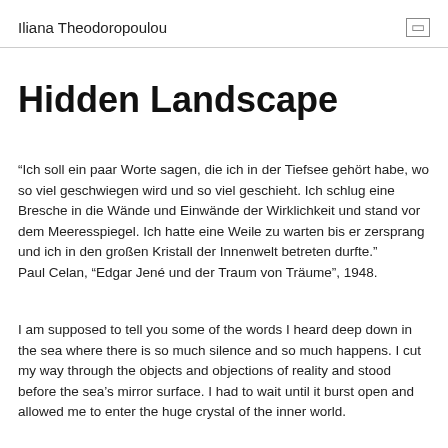Iliana Theodoropoulou
Hidden Landscape
“Ich soll ein paar Worte sagen, die ich in der Tiefsee gehört habe, wo so viel geschwiegen wird und so viel geschieht. Ich schlug eine Bresche in die Wände und Einwände der Wirklichkeit und stand vor dem Meeresspiegel. Ich hatte eine Weile zu warten bis er zersprang und ich in den großen Kristall der Innenwelt betreten durfte.“
Paul Celan, “Edgar Jené und der Traum von Träume”, 1948.
I am supposed to tell you some of the words I heard deep down in the sea where there is so much silence and so much happens. I cut my way through the objects and objections of reality and stood before the sea’s mirror surface. I had to wait until it burst open and allowed me to enter the huge crystal of the inner world.